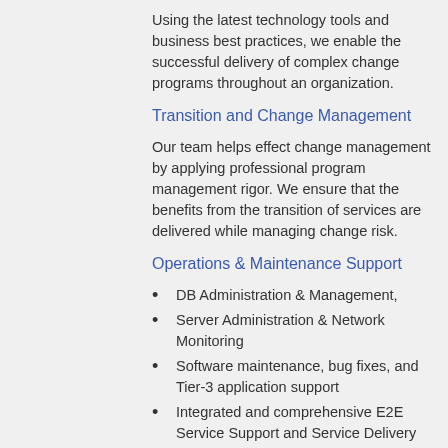Using the latest technology tools and business best practices, we enable the successful delivery of complex change programs throughout an organization.
Transition and Change Management
Our team helps effect change management by applying professional program management rigor. We ensure that the benefits from the transition of services are delivered while managing change risk.
Operations & Maintenance Support
DB Administration & Management,
Server Administration & Network Monitoring
Software maintenance, bug fixes, and Tier-3 application support
Integrated and comprehensive E2E Service Support and Service Delivery
Enterprise Service Desk Management
Remedy ITSM
CA Service Desk Manager
HP Service Manager
Monitoring